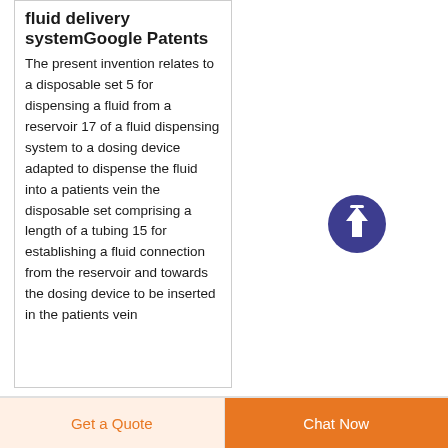fluid delivery systemGoogle Patents
The present invention relates to a disposable set 5 for dispensing a fluid from a reservoir 17 of a fluid dispensing system to a dosing device adapted to dispense the fluid into a patients vein the disposable set comprising a length of a tubing 15 for establishing a fluid connection from the reservoir and towards the dosing device to be inserted in the patients vein
[Figure (other): Circular dark blue/purple scroll-to-top button with upward arrow icon]
Get a Quote  Chat Now